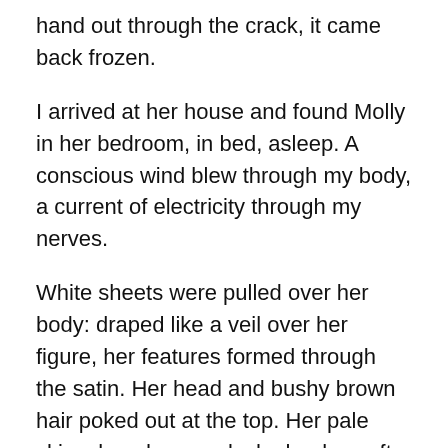hand out through the crack, it came back frozen.
I arrived at her house and found Molly in her bedroom, in bed, asleep. A conscious wind blew through my body, a current of electricity through my nerves.
White sheets were pulled over her body: draped like a veil over her figure, her features formed through the satin. Her head and bushy brown hair poked out at the top. Her pale skin: closed eyes, plush cheeks, soft puffy lips, round chin, turning into a swan’s neck, melting into the sheets. Her breasts formed two snow-covered mountains, a rolling valley between them.
Her body moaned. Her lips quivered, and she turned